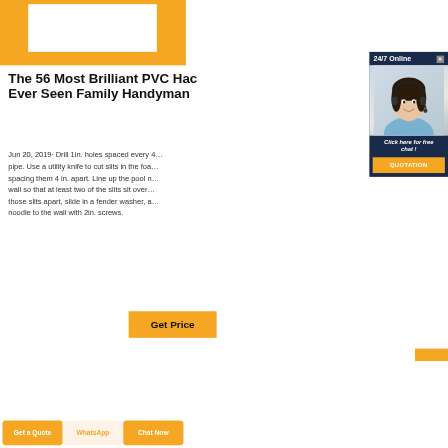[Figure (screenshot): Orange top banner with white inner rectangle, website header area]
The 56 Most Brilliant PVC Hacks Ever Seen Family Handyman
Jun 20, 2019· Drill 1in. holes spaced every 4… pipe. Use a utility knife to cut slits in the foa… spacing them 4 in. apart. Line up the pool n… wall so that at least two of the slits sit over… those slits apart, slide in a fender washer, a… noodle to the wall with 2in. screws.
[Figure (screenshot): Get Price orange button]
[Figure (screenshot): Popup overlay with 24/7 Online header, woman with headset photo, Click here for free chat! text, QUOTATION orange button]
Get a Quote   WhatsApp   Chat Now